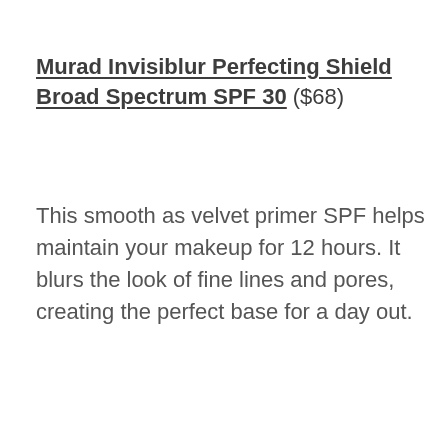Murad Invisiblur Perfecting Shield Broad Spectrum SPF 30 ($68)
This smooth as velvet primer SPF helps maintain your makeup for 12 hours. It blurs the look of fine lines and pores, creating the perfect base for a day out.